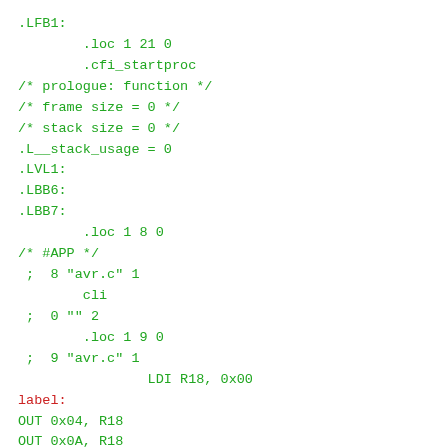.LFB1:
        .loc 1 21 0
        .cfi_startproc
/* prologue: function */
/* frame size = 0 */
/* stack size = 0 */
.L__stack_usage = 0
.LVL1:
.LBB6:
.LBB7:
        .loc 1 8 0
/* #APP */
 ;  8 "avr.c" 1
        cli
 ;  0 "" 2
        .loc 1 9 0
 ;  9 "avr.c" 1
                LDI R18, 0x00
label:
OUT 0x04, R18
OUT 0x0A, R18